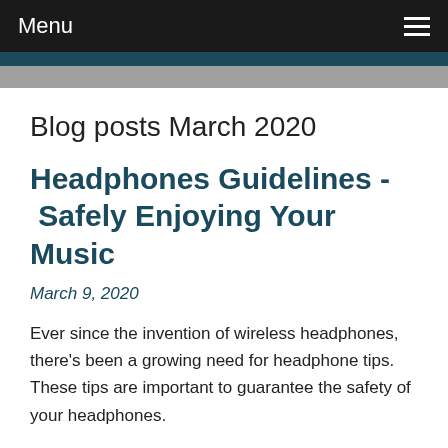Menu
Blog posts March 2020
Headphones Guidelines - Safely Enjoying Your Music
March 9, 2020
Ever since the invention of wireless headphones, there's been a growing need for headphone tips. These tips are important to guarantee the safety of your headphones.